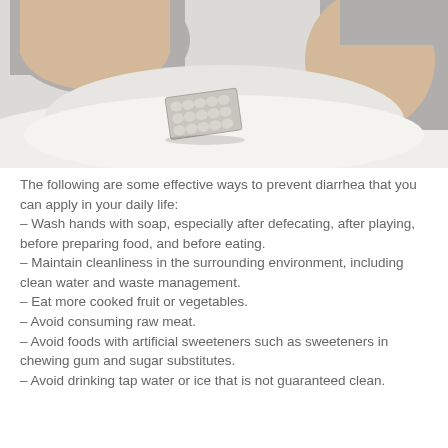[Figure (photo): A person lying in bed with a blister pack of pills/tablets on the white bedsheet in front of them. The person is wearing grey shorts and appears to be resting. The photo is taken from above showing their lower body and the white bedding.]
The following are some effective ways to prevent diarrhea that you can apply in your daily life: – Wash hands with soap, especially after defecating, after playing, before preparing food, and before eating. – Maintain cleanliness in the surrounding environment, including clean water and waste management. – Eat more cooked fruit or vegetables. – Avoid consuming raw meat. – Avoid foods with artificial sweeteners such as sweeteners in chewing gum and sugar substitutes. – Avoid drinking tap water or ice that is not guaranteed clean.